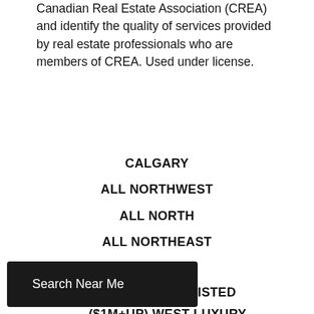Canadian Real Estate Association (CREA) and identify the quality of services provided by real estate professionals who are members of CREA. Used under license.
CALGARY
ALL NORTHWEST
ALL NORTH
ALL NORTHEAST
ALL WEST
WEST JUST LISTED
($1M+UP) WEST LUXURY
Search Near Me